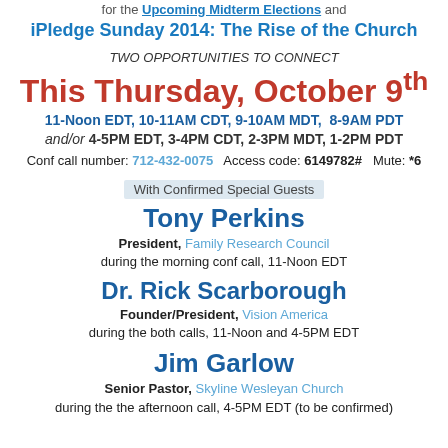for the Upcoming Midterm Elections and iPledge Sunday 2014: The Rise of the Church
TWO OPPORTUNITIES TO CONNECT
This Thursday, October 9th
11-Noon EDT, 10-11AM CDT, 9-10AM MDT, 8-9AM PDT
and/or 4-5PM EDT, 3-4PM CDT, 2-3PM MDT, 1-2PM PDT
Conf call number: 712-432-0075   Access code: 6149782#   Mute: *6
With Confirmed Special Guests
Tony Perkins
President, Family Research Council during the morning conf call, 11-Noon EDT
Dr. Rick Scarborough
Founder/President, Vision America during the both calls, 11-Noon and 4-5PM EDT
Jim Garlow
Senior Pastor, Skyline Wesleyan Church during the the afternoon call, 4-5PM EDT (to be confirmed)